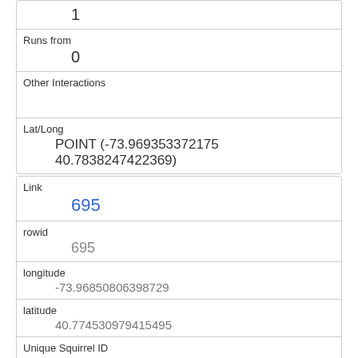|  | 1 |
| Runs from | 0 |
| Other Interactions |  |
| Lat/Long | POINT (-73.969353372175 40.7838247422369) |
| Link | 695 |
| rowid | 695 |
| longitude | -73.96850806398729 |
| latitude | 40.774530979415495 |
| Unique Squirrel ID | 13G-PM-1008-03 |
| Hectare | 13G |